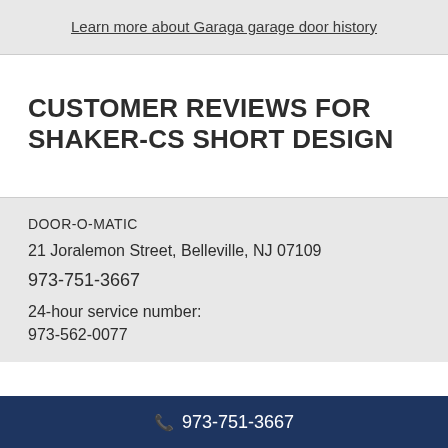Learn more about Garaga garage door history
CUSTOMER REVIEWS FOR SHAKER-CS SHORT DESIGN
DOOR-O-MATIC
21 Joralemon Street, Belleville, NJ 07109
973-751-3667
24-hour service number:
973-562-0077
973-751-3667